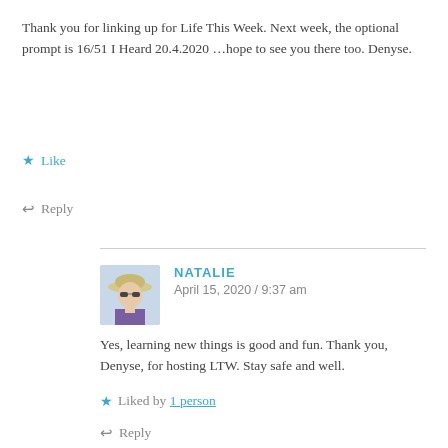Thank you for linking up for Life This Week. Next week, the optional prompt is 16/51 I Heard 20.4.2020 …hope to see you there too. Denyse.
Like
Reply
NATALIE
April 15, 2020 / 9:37 am
Yes, learning new things is good and fun. Thank you, Denyse, for hosting LTW. Stay safe and well.
Liked by 1 person
Reply